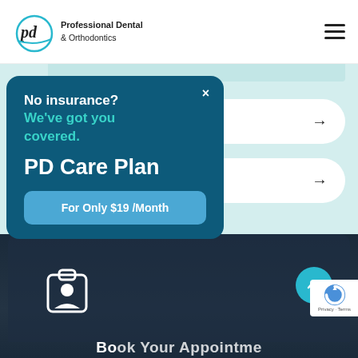[Figure (logo): Professional Dental & Orthodontics logo with 'pd' handwritten script in a circle and text to the right]
[Figure (screenshot): Navigation hamburger menu icon (three horizontal lines) in top right corner]
[Figure (infographic): Light teal background section with two white pill-shaped cards with right arrows, partially visible]
[Figure (infographic): Dark blue popup card overlay with close button, text 'No insurance? We've got you covered. PD Care Plan' and a blue button 'For Only $19 /Month']
[Figure (photo): Dark photo of a person reclining, partially visible at bottom, with dental appointment context]
[Figure (illustration): White ID badge icon on dark background]
[Figure (illustration): Teal circular scroll-to-top button with upward arrow, and reCAPTCHA Privacy-Terms badge]